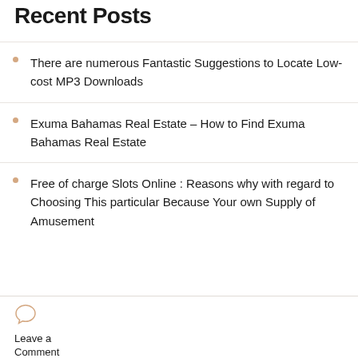Recent Posts
There are numerous Fantastic Suggestions to Locate Low-cost MP3 Downloads
Exuma Bahamas Real Estate – How to Find Exuma Bahamas Real Estate
Free of charge Slots Online : Reasons why with regard to Choosing This particular Because Your own Supply of Amusement
Leave a Comment